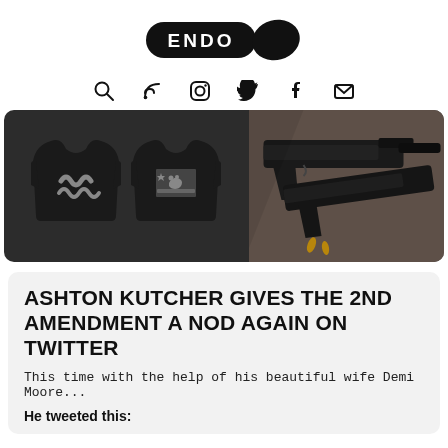[Figure (logo): ENDO logo — black pill-shaped badge with 'ENDO' text in white and a black leaf shape to the right]
[Figure (infographic): Six navigation icons in a row: search (magnifying glass), RSS feed, Instagram, Twitter bird, Facebook f, envelope/mail]
[Figure (photo): Banner image split into two sections: left shows two dark graphic t-shirts (one with snake logo, one with California bear flag design), right shows photo of two black handguns on a wooden surface]
ASHTON KUTCHER GIVES THE 2ND AMENDMENT A NOD AGAIN ON TWITTER
This time with the help of his beautiful wife Demi Moore...
He tweeted this: